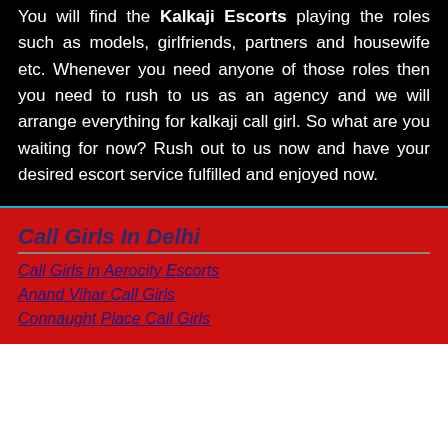You will find the Kalkaji Escorts playing the roles such as models, girlfriends, partners and housewife etc. Whenever you need anyone of those roles then you need to rush to us as an agency and we will arrange everything for kalkaji call girl. So what are you waiting for now? Rush out to us now and have your desired escort service fulfilled and enjoyed now.
Call Girls In Delhi
Call Girls in Aerocity Escorts
Anand Vihar Call Girls
Connaught Place Call Girls